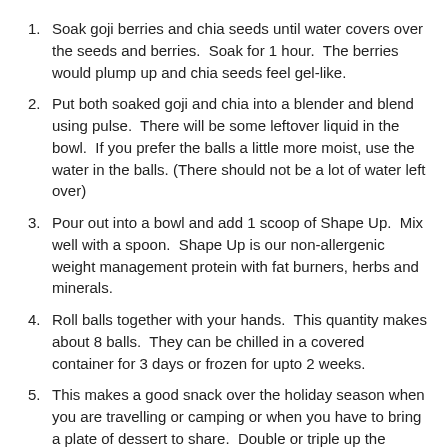Soak goji berries and chia seeds until water covers over the seeds and berries.  Soak for 1 hour.  The berries would plump up and chia seeds feel gel-like.
Put both soaked goji and chia into a blender and blend using pulse.  There will be some leftover liquid in the bowl.  If you prefer the balls a little more moist, use the water in the balls. (There should not be a lot of water left over)
Pour out into a bowl and add 1 scoop of Shape Up.  Mix well with a spoon.  Shape Up is our non-allergenic weight management protein with fat burners, herbs and minerals.
Roll balls together with your hands.  This quantity makes about 8 balls.  They can be chilled in a covered container for 3 days or frozen for upto 2 weeks.
This makes a good snack over the holiday season when you are travelling or camping or when you have to bring a plate of dessert to share.  Double or triple up the quantities if you have to serve more people.